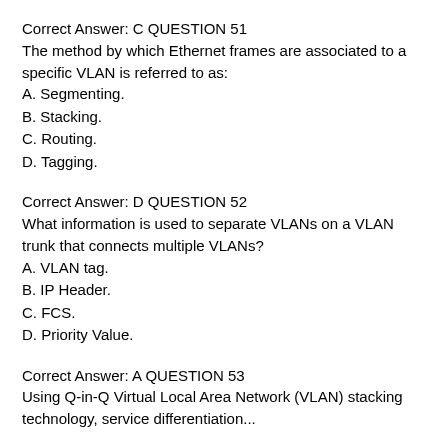Correct Answer: C QUESTION 51
The method by which Ethernet frames are associated to a specific VLAN is referred to as:
A. Segmenting.
B. Stacking.
C. Routing.
D. Tagging.
Correct Answer: D QUESTION 52
What information is used to separate VLANs on a VLAN trunk that connects multiple VLANs?
A. VLAN tag.
B. IP Header.
C. FCS.
D. Priority Value.
Correct Answer: A QUESTION 53
Using Q-in-Q Virtual Local Area Network (VLAN) stacking technology, service differentiation...